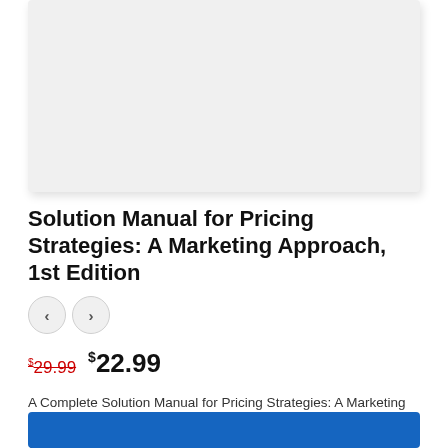[Figure (photo): Book cover placeholder image with light gray background]
Solution Manual for Pricing Strategies: A Marketing Approach, 1st Edition
$ 29.99  $22.99
A Complete Solution Manual for Pricing Strategies: A Marketing Approach, 1st Edition
Authors: Robert M. Schindler